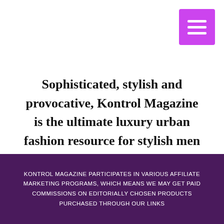[Figure (other): Purple/magenta hamburger menu button icon in top-right corner]
Sophisticated, stylish and provocative, Kontrol Magazine is the ultimate luxury urban fashion resource for stylish men & women today. The ultimate source for fashion, makeup,  hair inspiration, lifestyle and entertainment.
KONTROL MAGAZINE PARTICIPATES IN VARIOUS AFFILIATE MARKETING PROGRAMS, WHICH MEANS WE MAY GET PAID COMMISSIONS ON EDITORIALLY CHOSEN PRODUCTS PURCHASED THROUGH OUR LINKS